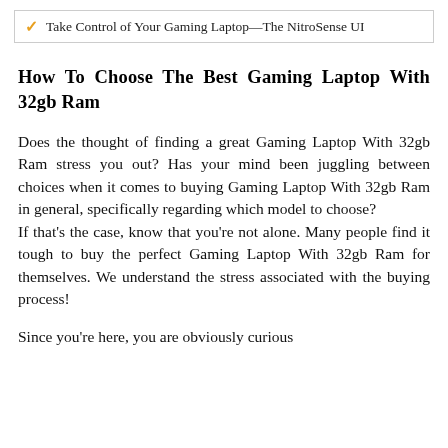✓ Take Control of Your Gaming Laptop—The NitroSense UI
How To Choose The Best Gaming Laptop With 32gb Ram
Does the thought of finding a great Gaming Laptop With 32gb Ram stress you out? Has your mind been juggling between choices when it comes to buying Gaming Laptop With 32gb Ram in general, specifically regarding which model to choose?
If that's the case, know that you're not alone. Many people find it tough to buy the perfect Gaming Laptop With 32gb Ram for themselves. We understand the stress associated with the buying process!
Since you're here, you are obviously curious